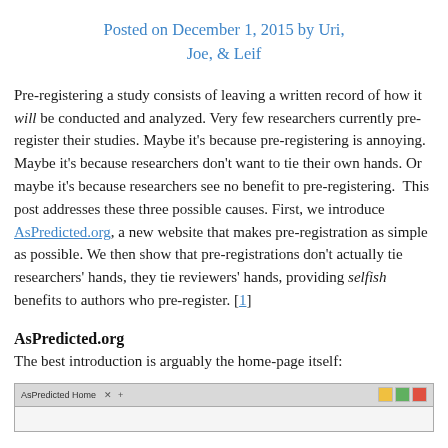Posted on December 1, 2015 by Uri, Joe, & Leif
Pre-registering a study consists of leaving a written record of how it will be conducted and analyzed. Very few researchers currently pre-register their studies. Maybe it's because pre-registering is annoying. Maybe it's because researchers don't want to tie their own hands. Or maybe it's because researchers see no benefit to pre-registering.  This post addresses these three possible causes. First, we introduce AsPredicted.org, a new website that makes pre-registration as simple as possible. We then show that pre-registrations don't actually tie researchers' hands, they tie reviewers' hands, providing selfish benefits to authors who pre-register. [1]
AsPredicted.org
The best introduction is arguably the home-page itself:
[Figure (screenshot): Screenshot of AsPredicted Home browser tab]